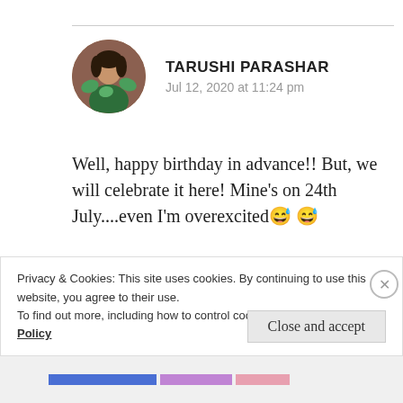[Figure (photo): Circular avatar photo of Tarushi Parashar]
TARUSHI PARASHAR
Jul 12, 2020 at 11:24 pm
Well, happy birthday in advance!! But, we will celebrate it here! Mine's on 24th July....even I'm overexcited 😅 😅
★ Liked by 1 person
REPLY
Privacy & Cookies: This site uses cookies. By continuing to use this website, you agree to their use.
To find out more, including how to control cookies, see here: Cookie Policy
Close and accept